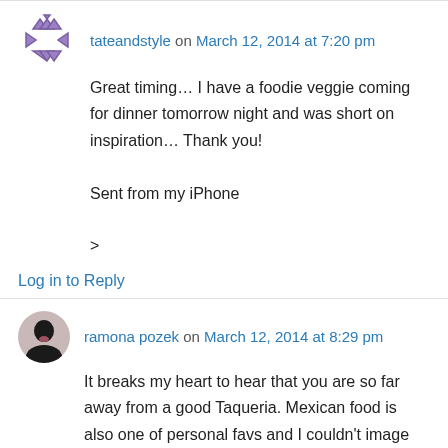tateandstyle on March 12, 2014 at 7:20 pm
Great timing… I have a foodie veggie coming for dinner tomorrow night and was short on inspiration… Thank you!

Sent from my iPhone

>
Log in to Reply
ramona pozek on March 12, 2014 at 8:29 pm
It breaks my heart to hear that you are so far away from a good Taqueria. Mexican food is also one of personal favs and I couldn't image having